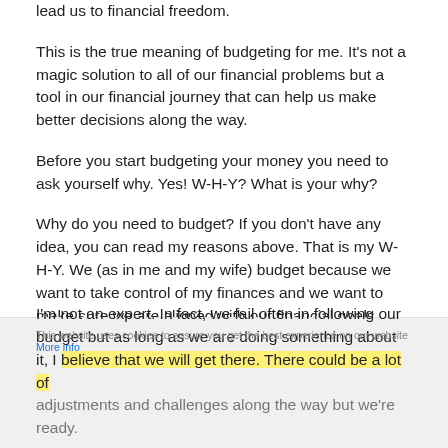lead us to financial freedom.
This is the true meaning of budgeting for me. It's not a magic solution to all of our financial problems but a tool in our financial journey that can help us make better decisions along the way.
Before you start budgeting your money you need to ask yourself why. Yes! W-H-Y? What is your why?
Why do you need to budget? If you don't have any idea, you can read my reasons above. That is my W-H-Y. We (as in me and my wife) budget because we want to take control of my finances and we want to make sure we are aligned with our financial goals.
I'm not an expert. In fact, we fail often in following our budget but as long as we are doing something about it, I believe that we will get there. There could be a lot of adjustments and challenges along the way but we're ready.
This website uses cookies to ensure you get the best experience on our website More info